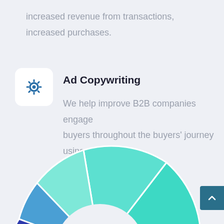increased revenue from transactions, increased purchases.
Ad Copywriting
We help improve B2B companies engage buyers throughout the buyers' journey using SEO.
[Figure (donut-chart): Partial donut chart visible at bottom of page, showing multiple colored segments: teal/green (large), medium teal, blue, dark blue/navy. The chart is cut off at the bottom of the page.]